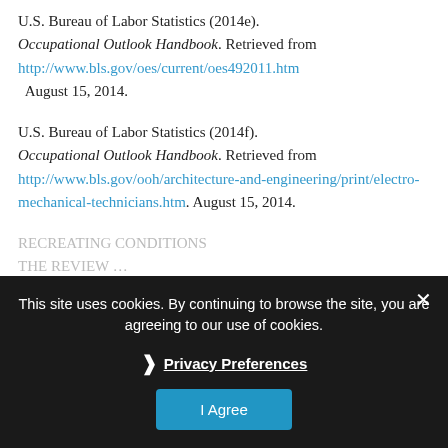U.S. Bureau of Labor Statistics (2014e). Occupational Outlook Handbook. Retrieved from http://www.bls.gov/oes/current/oes492011.htm  August 15, 2014.
U.S. Bureau of Labor Statistics (2014f). Occupational Outlook Handbook. Retrieved from http://www.bls.gov/ooh/architecture-and-engineering/print/electro-mechanical-technicians.htm. August 15, 2014.
[Partially visible text obscured by cookie banner]
This site uses cookies. By continuing to browse the site, you are agreeing to our use of cookies. Privacy Preferences I Agree